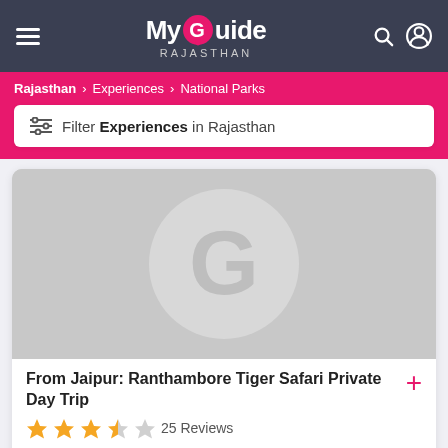My Guide RAJASTHAN
Rajasthan > Experiences > National Parks
Filter Experiences in Rajasthan
[Figure (photo): Placeholder image with My Guide logo watermark (gray background)]
From Jaipur: Ranthambore Tiger Safari Private Day Trip
25 Reviews
Enjoy the thrilling opportunity to seek out the Bengal tiger in its natural habitat on a memorable day trip from Jaipur. Spot...
FROM  AVAILABILITY